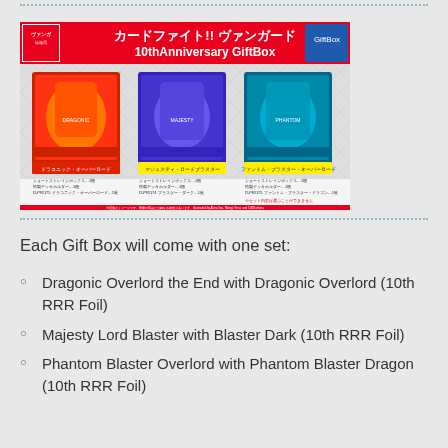[Figure (photo): Cardfight!! Vanguard 10th Anniversary Gift Box promotional image showing three gift box sets: Dragonic Overlord the End set, Majesty Lord Blaster set, and Phantom Blaster Overlord set, with Japanese text and product details.]
Each Gift Box will come with one set:
Dragonic Overlord the End with Dragonic Overlord (10th RRR Foil)
Majesty Lord Blaster with Blaster Dark (10th RRR Foil)
Phantom Blaster Overlord with Phantom Blaster Dragon (10th RRR Foil)